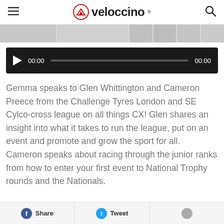veloccino
[Figure (screenshot): Blurred image strip showing partial article thumbnails]
[Figure (screenshot): Audio player with play button, time display 00:00, progress bar, and end time 00:00]
Gemma speaks to Glen Whittington and Cameron Preece from the Challenge Tyres London and SE Cylco-cross league on all things CX! Glen shares an insight into what it takes to run the league, put on an event and promote and grow the sport for all. Cameron speaks about racing through the junior ranks from how to enter your first event to National Trophy rounds and the Nationals.
Share  Tweet